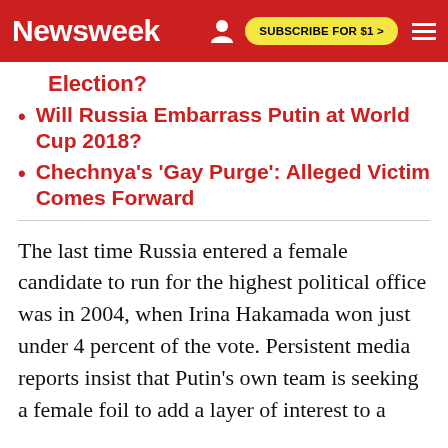Newsweek | SUBSCRIBE FOR $1 >
Election?
Will Russia Embarrass Putin at World Cup 2018?
Chechnya's 'Gay Purge': Alleged Victim Comes Forward
The last time Russia entered a female candidate to run for the highest political office was in 2004, when Irina Hakamada won just under 4 percent of the vote. Persistent media reports insist that Putin's own team is seeking a female foil to add a layer of interest to a